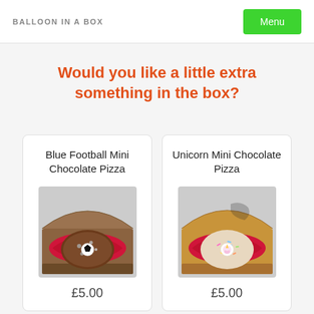BALLOON IN A BOX | Menu
Would you like a little extra something in the box?
Blue Football Mini Chocolate Pizza
£5.00
Unicorn Mini Chocolate Pizza
£5.00